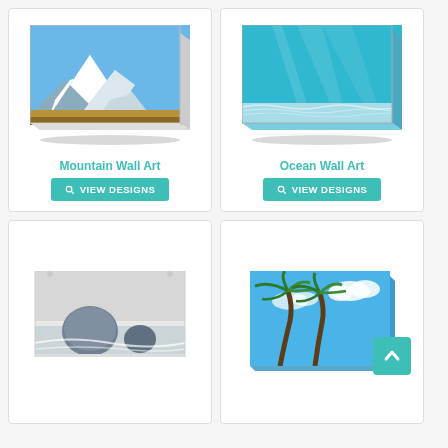[Figure (photo): Canvas print of snow-capped mountains with yellow fields in foreground, 3D perspective view]
Mountain Wall Art
VIEW DESIGNS
[Figure (photo): Canvas print of underwater ocean scene with sandy bottom and turquoise water, 3D perspective view]
Ocean Wall Art
VIEW DESIGNS
[Figure (photo): Wall tapestry showing large rocks with ocean waves in black and white]
[Figure (photo): Canvas print of tropical palm trees against blue sky, with teal back-to-top arrow button overlay]